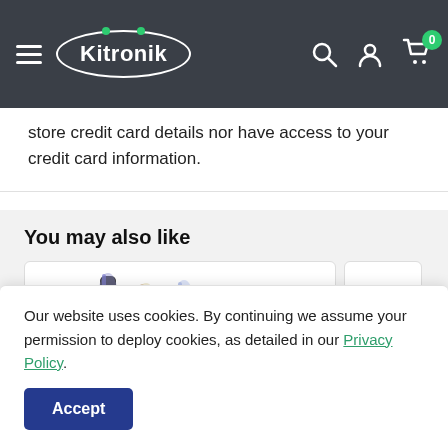Kitronik
store credit card details nor have access to your credit card information.
You may also like
[Figure (photo): Four coloured wire/jumper leads (black, red, blue, yellow) standing upright, with coloured tips visible at top and blurred background.]
Our website uses cookies. By continuing we assume your permission to deploy cookies, as detailed in our Privacy Policy.